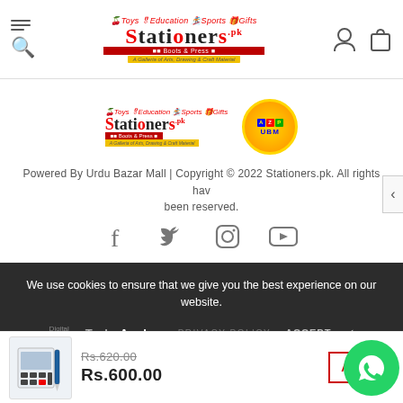[Figure (logo): Stationers.pk website header with hamburger/search icon on left, Stationers logo in center, user and cart icons on right]
[Figure (logo): Stationers.pk logo (small) and Urdu Bazar Mall (UBM) circular badge]
Powered By Urdu Bazar Mall | Copyright © 2022 Stationers.pk. All rights have been reserved.
[Figure (infographic): Social media icons: Facebook, Twitter, Instagram, YouTube]
We use cookies to ensure that we give you the best experience on our website.
Digital Partner TurboAnchor PRIVACY POLICY ACCEPT ✓
[Figure (photo): Calculator product image thumbnail]
Rs.620.00
Rs.600.00
ADD TO CART